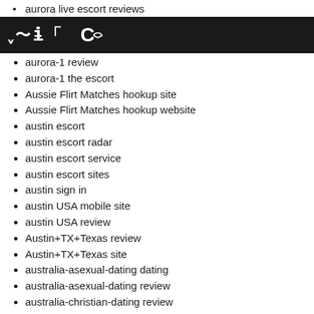aurora live escort reviews
C~
aurora-1 review
aurora-1 the escort
Aussie Flirt Matches hookup site
Aussie Flirt Matches hookup website
austin escort
austin escort radar
austin escort service
austin escort sites
austin sign in
austin USA mobile site
austin USA review
Austin+TX+Texas review
Austin+TX+Texas site
australia-asexual-dating dating
australia-asexual-dating review
australia-christian-dating review
australia-conservative-dating sign in
australia-farmers-dating sign in
australia-gay-dating mobile site
australia-gay-dating review
australia-herpes-dating mobile
australia-herpes-dating review